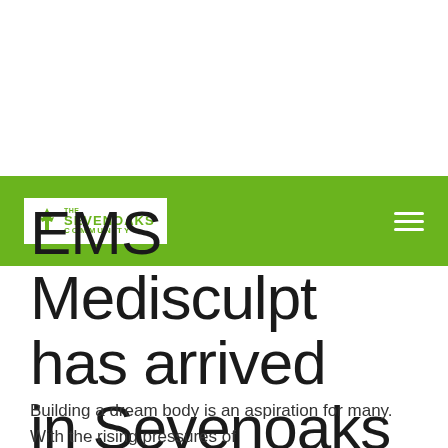[Figure (logo): Sevenoaks Community logo in white box inside green navigation bar with hamburger menu icon on right]
EMS Medisculpt has arrived in Sevenoaks
Building a dream body is an aspiration for many. With the rising pressures of